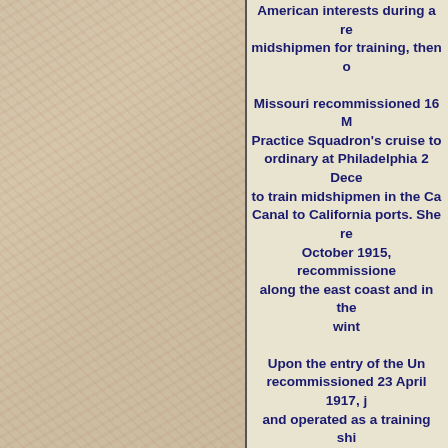[Figure (photo): Left half of page showing a collage/pile of colorful items such as toys, packages, and miscellaneous objects, rendered in muted/faded colors.]
American interests during a re... midshipmen for training, then o...
Missouri recommissioned 16 M... Practice Squadron's cruise to... ordinary at Philadelphia 2 Dece... to train midshipmen in the Ca... Canal to California ports. She re... October 1915, recommissione... along the east coast and in the... wint...
Upon the entry of the Un... recommissioned 23 April 1917, j... and operated as a training shi... 1917 Rear Admiral Hugh Rodm... Division 2, Atlantic Fleet, and... recruits in engineering and gu... armed gua...
Following the Armistice, the... Transport Force, departing N... voyages to Brest to retur...
Missouri decommissioned at Ph...